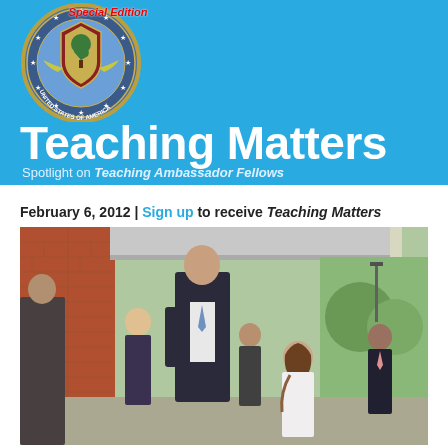[Figure (logo): U.S. Department of Education seal with 'Special Edition' text overlay in red, showing tree and shield emblem with stars and 'United States of America' text]
Teaching Matters
Spotlight on Teaching Ambassador Fellows
February 6, 2012  |  Sign up to receive Teaching Matters
[Figure (photo): A tall man in a dark suit with blue tie walks with a young woman in a white shirt along a covered school walkway. Several people follow behind. Brick building visible on the left, trees in background on the right.]